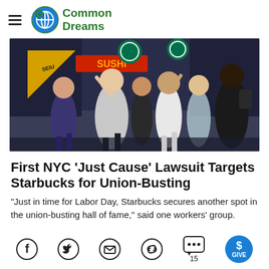Common Dreams
[Figure (photo): Crowd of protesters marching in the street, holding yellow SEIU flags and green Starbucks Workers United signs, in an urban setting at dusk.]
First NYC 'Just Cause' Lawsuit Targets Starbucks for Union-Busting
"Just in time for Labor Day, Starbucks secures another spot in the union-busting hall of fame," said one workers' group.
Facebook | Twitter | Email | Link | Comments 15 | GIVE